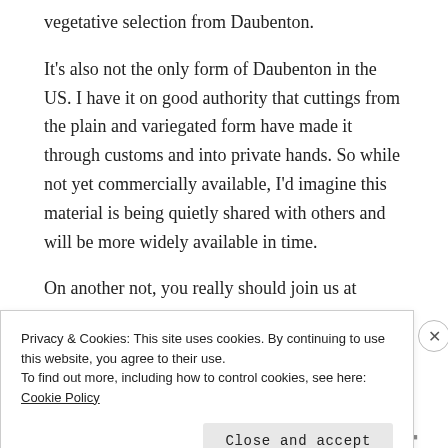vegetative selection from Daubenton.
It's also not the only form of Daubenton in the US. I have it on good authority that cuttings from the plain and variegated form have made it through customs and into private hands. So while not yet commercially available, I'd imagine this material is being quietly shared with others and will be more widely available in time.
On another not, you really should join us at
Privacy & Cookies: This site uses cookies. By continuing to use this website, you agree to their use.
To find out more, including how to control cookies, see here: Cookie Policy
Close and accept